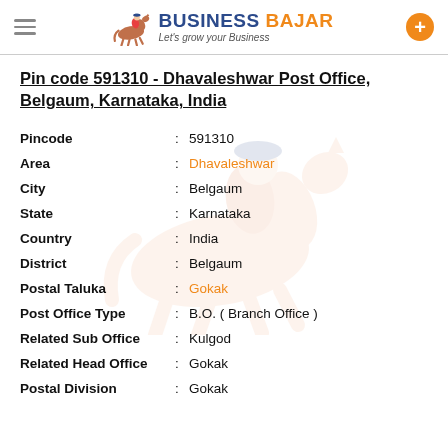BUSINESS BAJAR — Let's grow your Business
Pin code 591310 - Dhavaleshwar Post Office, Belgaum, Karnataka, India
| Field | Value |
| --- | --- |
| Pincode | 591310 |
| Area | Dhavaleshwar |
| City | Belgaum |
| State | Karnataka |
| Country | India |
| District | Belgaum |
| Postal Taluka | Gokak |
| Post Office Type | B.O. ( Branch Office ) |
| Related Sub Office | Kulgod |
| Related Head Office | Gokak |
| Postal Division | Gokak |